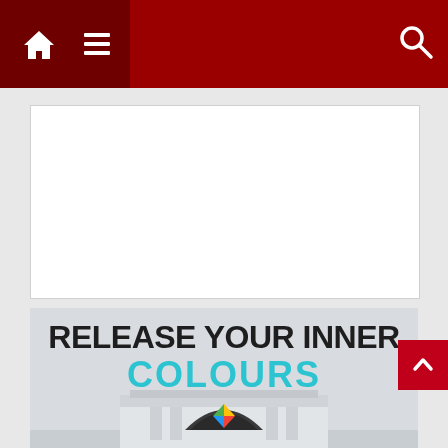Navigation bar with home, menu, and search icons
[Figure (screenshot): White advertisement placeholder box]
[Figure (infographic): Banner with text RELEASE YOUR INNER COLOURS and a building storefront with colourful logo]